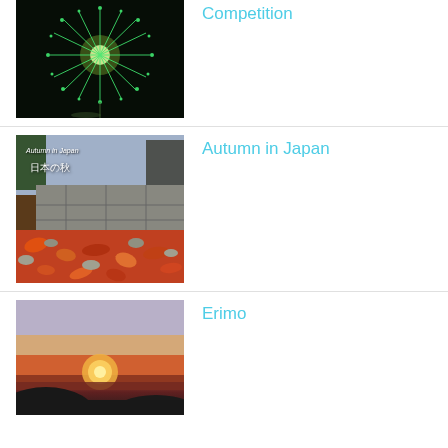[Figure (photo): Fireworks photo on black background showing a circular burst of green/white lights]
Competition
[Figure (photo): Autumn in Japan photo showing red/orange fallen leaves on stone steps with Japanese text overlay reading '日本の秋']
Autumn in Japan
[Figure (photo): Sunset photo at Erimo showing orange and pink sky over dark silhouetted hills and water]
Erimo